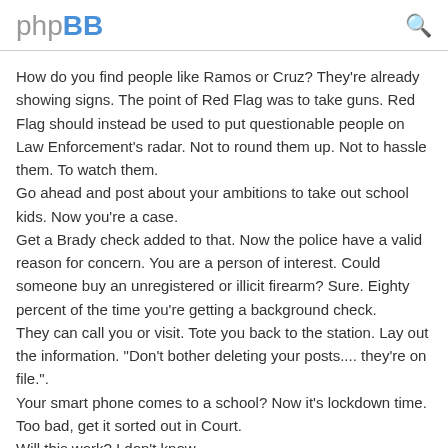phpBB
How do you find people like Ramos or Cruz? They're already showing signs. The point of Red Flag was to take guns. Red Flag should instead be used to put questionable people on Law Enforcement's radar. Not to round them up. Not to hassle them. To watch them.
Go ahead and post about your ambitions to take out school kids. Now you're a case.
Get a Brady check added to that. Now the police have a valid reason for concern. You are a person of interest. Could someone buy an unregistered or illicit firearm? Sure. Eighty percent of the time you're getting a background check.
They can call you or visit. Tote you back to the station. Lay out the information. "Don't bother deleting your posts.... they're on file.".
Your smart phone comes to a school? Now it's lockdown time. Too bad, get it sorted out in Court.
Will this work? I don't know.